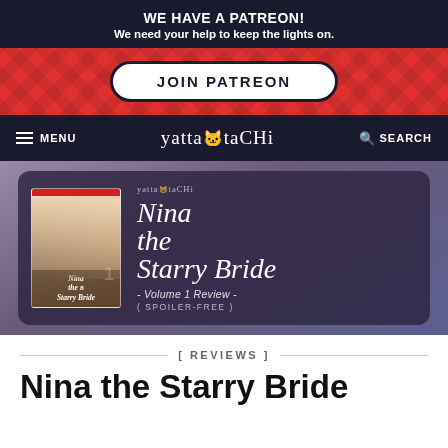WE HAVE A PATREON! We need your help to keep the lights on.
JOIN PATREON
≡ MENU  yattaōtaCHi  🔍 SEARCH
[Figure (illustration): Hero banner card with manga cover of Nina the Starry Bride Volume 1 on the left, and stylized title text on the right reading 'Nina the Starry Bride - Volume 1 Review - ( SPOILER-FREE )' with yattaōtaCHi logo above, set against a dark purple semi-transparent card on a blurred manga artwork background]
[ REVIEWS ]
Nina the Starry Bride